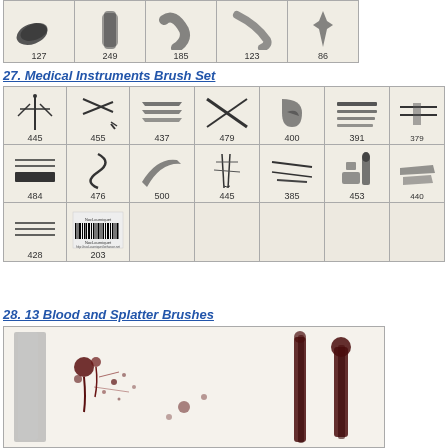[Figure (table-as-image): Grid of brush stroke thumbnails with numbers 127, 249, 185, 123, 86]
27. Medical Instruments Brush Set
[Figure (table-as-image): Grid of medical instrument brush thumbnails with numbers 445, 455, 437, 479, 400, 391, 379, 484, 476, 500, 445, 385, 453, 440, 428, 203]
28. 13 Blood and Splatter Brushes
[Figure (photo): Blood and splatter brush strokes preview image showing red/brown splatter patterns]